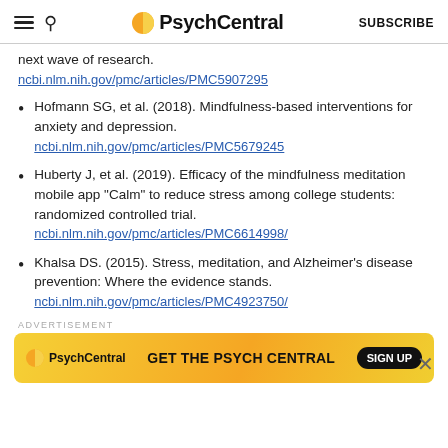PsychCentral
next wave of research.
ncbi.nlm.nih.gov/pmc/articles/PMC5907295
Hofmann SG, et al. (2018). Mindfulness-based interventions for anxiety and depression.
ncbi.nlm.nih.gov/pmc/articles/PMC5679245
Huberty J, et al. (2019). Efficacy of the mindfulness meditation mobile app "Calm" to reduce stress among college students: randomized controlled trial.
ncbi.nlm.nih.gov/pmc/articles/PMC6614998/
Khalsa DS. (2015). Stress, meditation, and Alzheimer's disease prevention: Where the evidence stands.
ncbi.nlm.nih.gov/pmc/articles/PMC4923750/
[Figure (screenshot): PsychCentral advertisement banner: GET THE PSYCH CENTRAL with SIGN UP button]